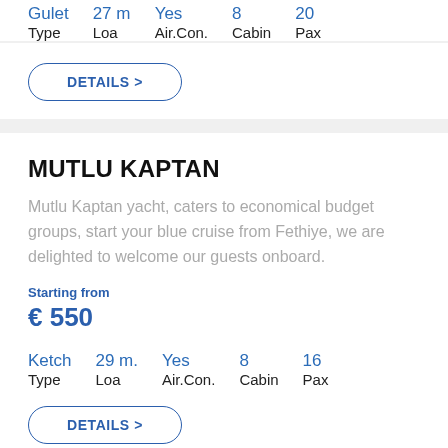| Type | Loa | Air.Con. | Cabin | Pax |
| --- | --- | --- | --- | --- |
| Gulet | 27 m | Yes | 8 | 20 |
DETAILS >
MUTLU KAPTAN
Mutlu Kaptan yacht, caters to economical budget groups, start your blue cruise from Fethiye, we are delighted to welcome our guests onboard.
Starting from
€ 550
| Type | Loa | Air.Con. | Cabin | Pax |
| --- | --- | --- | --- | --- |
| Ketch | 29 m. | Yes | 8 | 16 |
DETAILS >